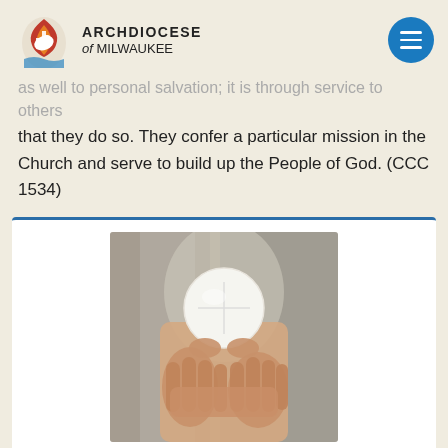Archdiocese of Milwaukee
as well to personal salvation; it is through service to others that they do so. They confer a particular mission in the Church and serve to build up the People of God. (CCC 1534)
[Figure (photo): Hands holding up a white communion host/Eucharist wafer]
Holy Orders